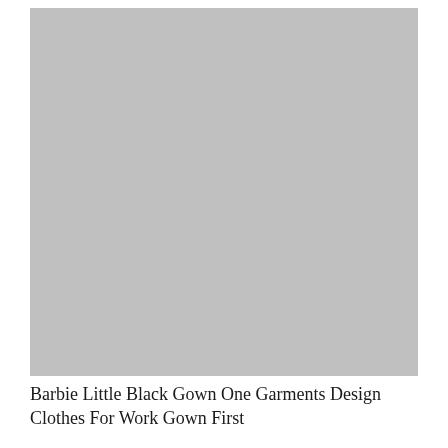[Figure (photo): Large grey placeholder image representing a photo of a Barbie Little Black Gown garment design]
Barbie Little Black Gown One Garments Design Clothes For Work Gown First